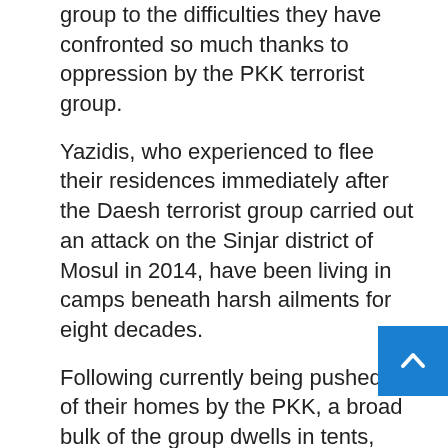group to the difficulties they have confronted so much thanks to oppression by the PKK terrorist group.
Yazidis, who experienced to flee their residences immediately after the Daesh terrorist group carried out an attack on the Sinjar district of Mosul in 2014, have been living in camps beneath harsh ailments for eight decades.
Following currently being pushed out of their homes by the PKK, a broad bulk of the group dwells in tents, even with unfavorable temperature disorders in the summer season and wintertime.
Yazidis await the implementation of the 2020 Sinjar Arrangement, with just one of the most important goals staying the elimination of PKK terrorists from the region.